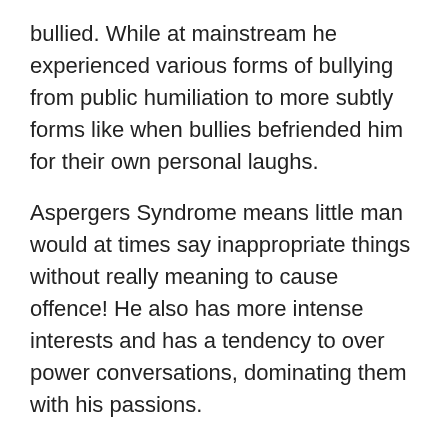bullied. While at mainstream he experienced various forms of bullying from public humiliation to more subtly forms like when bullies befriended him for their own personal laughs.
Aspergers Syndrome means little man would at times say inappropriate things without really meaning to cause offence! He also has more intense interests and has a tendency to over power conversations, dominating them with his passions.
Kids pick up on this stuff really easily and little man stood little chance of blending in.
We also started having concerns that little man was starting to unintentionally bully others as a result of this treatment. He would copy things the other children's actions and he also had a tendency to repeat things they